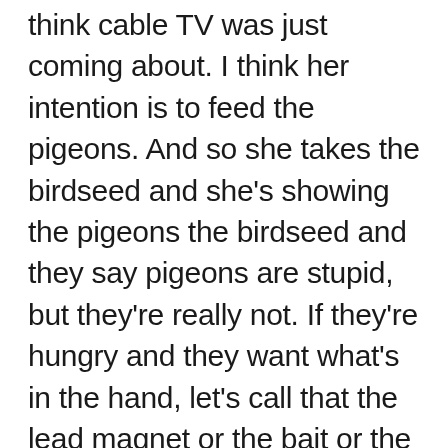think cable TV was just coming about. I think her intention is to feed the pigeons. And so she takes the birdseed and she's showing the pigeons the birdseed and they say pigeons are stupid, but they're really not. If they're hungry and they want what's in the hand, let's call that the lead magnet or the bait or the ethical bribe. You know, she's kind of walking towards them but gradually, not too fast, but gradually. And so as she's walking towards them, their heads are bobbing back and forth and they're walking away from her. So she turns around and she still shows the birdseed because that's what they want. She knows what they want, she